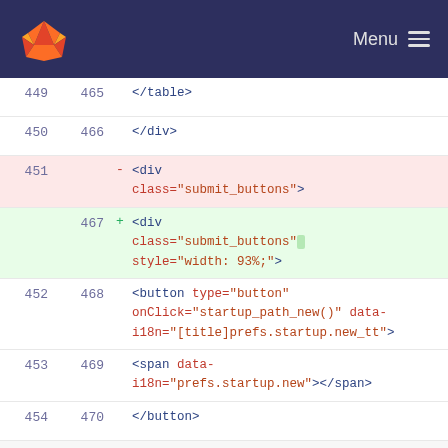GitLab logo | Menu
449  465  </table>
450  466  </div>
451  -  <div class="submit_buttons">
467  +  <div class="submit_buttons" style="width: 93%;">
452  468  <button type="button" onClick="startup_path_new()" data-i18n="[title]prefs.startup.new_tt">
453  469  <span data-i18n="prefs.startup.new"></span>
454  470  </button>
...  ...  @@ -462,12 +478,12 @@ td {
462  478  <label data-i18n="[title]prefs.startup.libs_tt">
463  479  <span data-i18n="prefs.startup.libs"></span>
464  480  </label>
465  -  <div